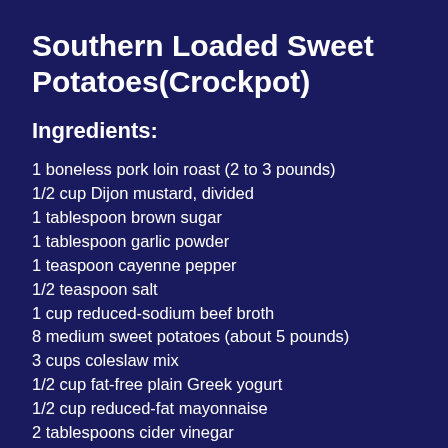Southern Loaded Sweet Potatoes(Crockpot)
Ingredients:
1 boneless pork loin roast (2 to 3 pounds)
1/2 cup Dijon mustard, divided
1 tablespoon brown sugar
1 tablespoon garlic powder
1 teaspoon cayenne pepper
1/2 teaspoon salt
1 cup reduced-sodium beef broth
8 medium sweet potatoes (about 5 pounds)
3 cups coleslaw mix
1/2 cup fat-free plain Greek yogurt
1/2 cup reduced-fat mayonnaise
2 tablespoons cider vinegar
1/2 teaspoon celery seed
1/4 teaspoon garlic salt